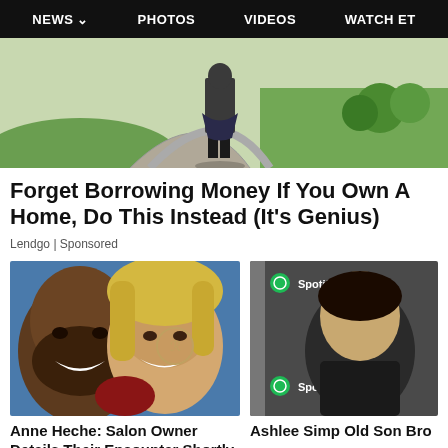NEWS  PHOTOS  VIDEOS  WATCH ET
[Figure (photo): Hero photo showing a person standing on a driveway with green lawn, viewed from behind]
Forget Borrowing Money If You Own A Home, Do This Instead (It's Genius)
Lendgo | Sponsored
[Figure (photo): Selfie photo of a man and a woman smiling together]
[Figure (photo): Photo of a person at a Spotify event, logos visible]
Anne Heche: Salon Owner Details Their Encounter Shortly Before
Ashlee Simp Old Son Bro